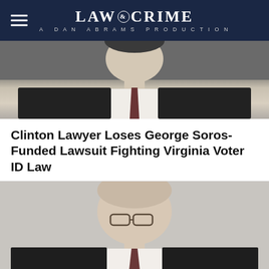LAW & CRIME — A DAN ABRAMS PRODUCTION
[Figure (photo): Man in dark suit and striped tie, upper body visible, screenshot from video]
Clinton Lawyer Loses George Soros-Funded Lawsuit Fighting Virginia Voter ID Law
[Figure (photo): Bald man with glasses in dark suit and striped tie, screenshot from video]
Clinton Lawyer Loses George Soros-Funded